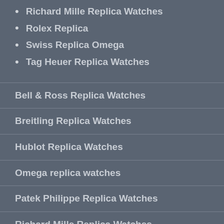Richard Mille Replica Watches
Rolex Replica
Swiss Replica Omega
Tag Heuer Replica Watches
Bell & Ross Replica Watches
Breitling Replica Watches
Hublot Replica Watches
Omega replica watches
Patek Philippe Replica Watches
Richard Mille Replica Watches